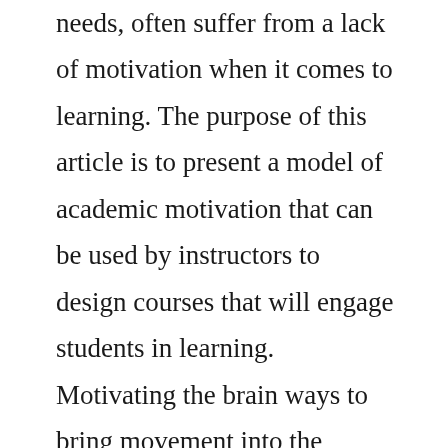needs, often suffer from a lack of motivation when it comes to learning. The purpose of this article is to present a model of academic motivation that can be used by instructors to design courses that will engage students in learning. Motivating the brain ways to bring movement into the classroom. Student motivation is probably the single most important element of learning. Educators are always trying to find ways to motivate their students. Preparedbybeverlyweiser,phd southern methodist university. Allow students to have a say in the course where possible and